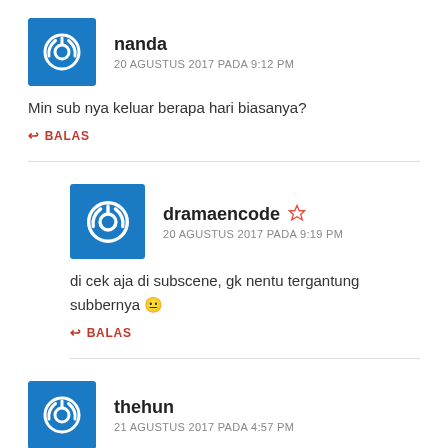nanda
20 AGUSTUS 2017 PADA 9:12 PM
Min sub nya keluar berapa hari biasanya?
BALAS
dramaencode
20 AGUSTUS 2017 PADA 9:19 PM
di cek aja di subscene, gk nentu tergantung subbernya 😐
BALAS
thehun
21 AGUSTUS 2017 PADA 4:57 PM